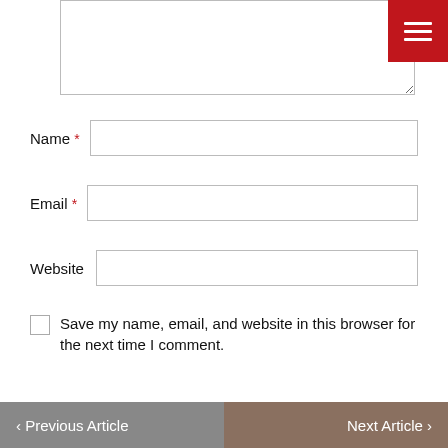[Figure (screenshot): Comment form textarea at the top of the page with a red hamburger menu button overlay in the top-right corner]
Name *
Email *
Website
Save my name, email, and website in this browser for the next time I comment.
POST COMMENT
< Previous Article   Next Article >